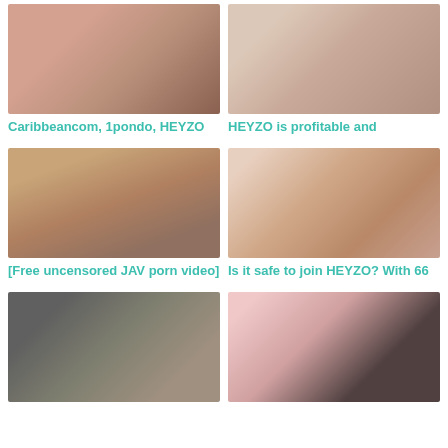[Figure (photo): Thumbnail image 1 - top left]
[Figure (photo): Thumbnail image 2 - top right]
Caribbeancom, 1pondo, HEYZO
HEYZO is profitable and
[Figure (photo): Thumbnail image 3 - middle left]
[Figure (photo): Thumbnail image 4 - middle right]
[Free uncensored JAV porn video]
Is it safe to join HEYZO? With 66
[Figure (photo): Thumbnail image 5 - bottom left]
[Figure (photo): Thumbnail image 6 - bottom right]